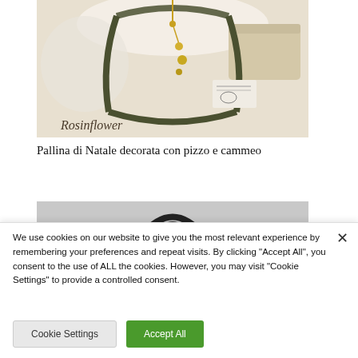[Figure (photo): Photo of a decorated Christmas ornament ball with lace and cameo, hanging on a dark green hanger with gold chain, branded 'Rosinflower']
Pallina di Natale decorata con pizzo e cammeo
[Figure (photo): Partially visible second product photo on a grey background showing a dark round hanger/ring]
We use cookies on our website to give you the most relevant experience by remembering your preferences and repeat visits. By clicking "Accept All", you consent to the use of ALL the cookies. However, you may visit "Cookie Settings" to provide a controlled consent.